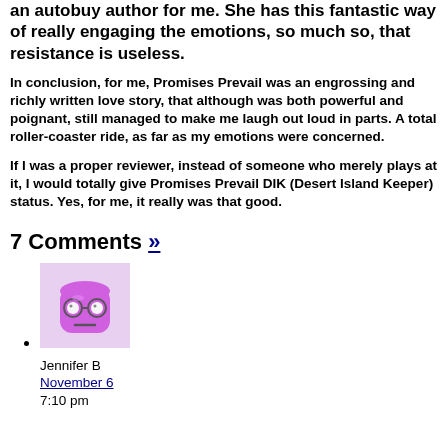an autobuy author for me. She has this fantastic way of really engaging the emotions, so much so, that resistance is useless.
In conclusion, for me, Promises Prevail was an engrossing and richly written love story, that although was both powerful and poignant, still managed to make me laugh out loud in parts. A total roller-coaster ride, as far as my emotions were concerned.
If I was a proper reviewer, instead of someone who merely plays at it, I would totally give Promises Prevail DIK (Desert Island Keeper) status. Yes, for me, it really was that good.
7 Comments »
[Figure (illustration): Avatar image of a pink/purple cylindrical character with glasses and a neutral expression, with a light colored background]
Jennifer B
November 6
7:10 pm